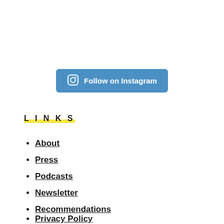[Figure (other): Blue rounded button with Instagram camera icon and text 'Follow on Instagram']
LINKS
About
Press
Podcasts
Newsletter
Recommendations
Privacy Policy